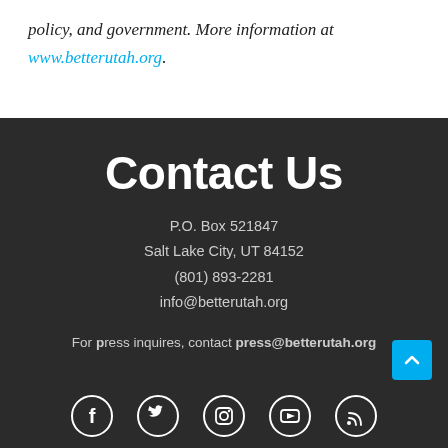policy, and government. More information at www.betterutah.org.
Contact Us
P.O. Box 521847
Salt Lake City, UT 84152
(801) 893-2281
info@betterutah.org
For press inquires, contact press@betterutah.org
[Figure (illustration): Social media icons: Facebook, Twitter, Instagram, YouTube, RSS — white circle outlines on dark background]